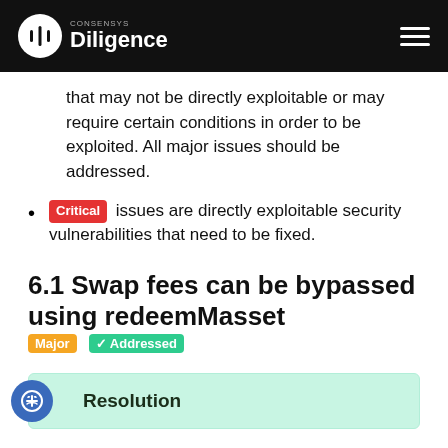CONSENSYS Diligence
that may not be directly exploitable or may require certain conditions in order to be exploited. All major issues should be addressed.
Critical issues are directly exploitable security vulnerabilities that need to be fixed.
6.1 Swap fees can be bypassed using redeemMasset  Major  ✓ Addressed
Resolution